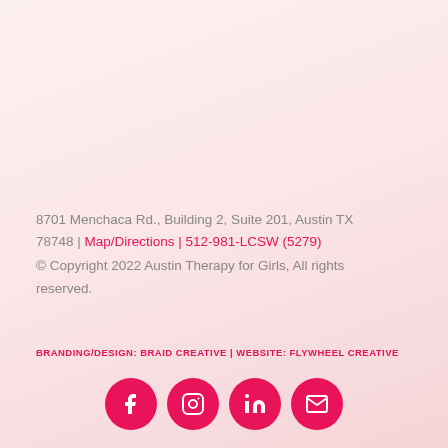8701 Menchaca Rd., Building 2, Suite 201, Austin TX 78748 | Map/Directions | 512-981-LCSW (5279)
© Copyright 2022 Austin Therapy for Girls, All rights reserved.
BRANDING/DESIGN: BRAID CREATIVE | WEBSITE: FLYWHEEL CREATIVE
[Figure (infographic): Four pink circular social media icon buttons: Facebook, Instagram, LinkedIn, and Email/envelope icons]